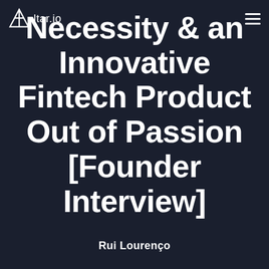Altar.io [navigation logo and hamburger menu]
Necessity & an Innovative Fintech Product Out of Passion [Founder Interview]
Rui Lourenço